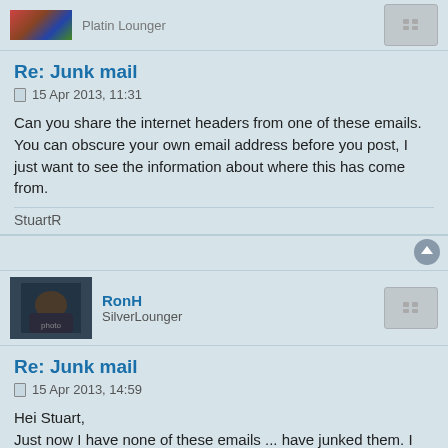Re: Junk mail
15 Apr 2013, 11:31
Can you share the internet headers from one of these emails. You can obscure your own email address before you post, I just want to see the information about where this has come from.
StuartR
RonH
SilverLounger
Re: Junk mail
15 Apr 2013, 14:59
Hei Stuart,
Just now I have none of these emails ... have junked them. I am in contact with LinkedIn and they are investigating but if I get another I will take a look at Properties and post info. I have also taken Hans advice and opened a new Outlook.com address and will be trashing the Hotmail one following comment from LinkedIn. I only use it for Microsoft so a complete new address in Outlook.Com was the best solution.
Ron